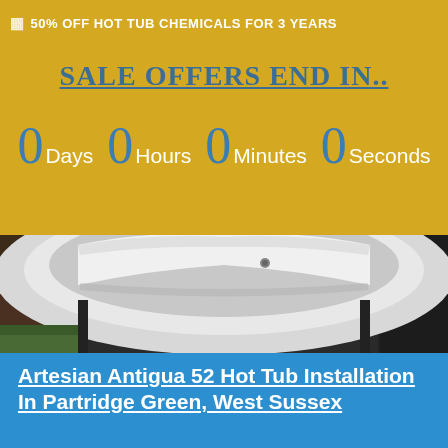🏠 50% OFF HOT TUB CHEMICALS FOR 3 YEARS
SALE OFFERS END IN..
0 Days  0 Hours  0 Minutes  0 Seconds
[Figure (photo): Close-up photograph of a hot tub corner showing white acrylic shell and dark wood cabinet surround on grass]
Artesian Antigua 52 Hot Tub Installation In Partridge Green, West Sussex